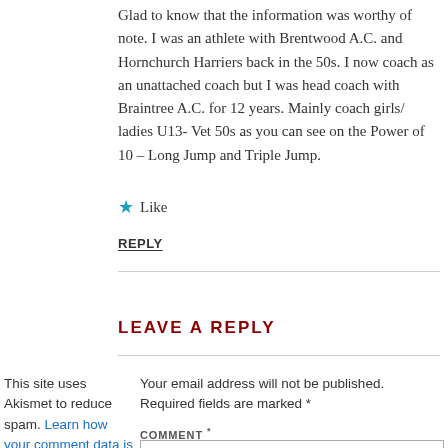Glad to know that the information was worthy of note. I was an athlete with Brentwood A.C. and Hornchurch Harriers back in the 50s. I now coach as an unattached coach but I was head coach with Braintree A.C. for 12 years. Mainly coach girls/ ladies U13- Vet 50s as you can see on the Power of 10 – Long Jump and Triple Jump.
★ Like
REPLY
LEAVE A REPLY
This site uses Akismet to reduce spam. Learn how your comment data is processed.
Your email address will not be published. Required fields are marked *
COMMENT *